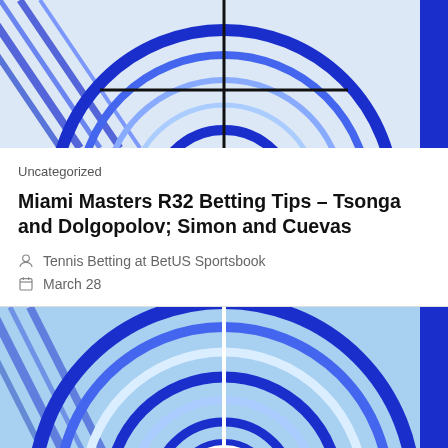[Figure (illustration): Top portion of a tennis/sports betting themed illustration showing concentric blue circles with a crosshair/target design and diagonal blue line stripes on white background, cropped at top.]
Uncategorized
Miami Masters R32 Betting Tips – Tsonga and Dolgopolov; Simon and Cuevas
Tennis Betting at BetUS Sportsbook
March 28
[Figure (illustration): Full tennis/sports betting themed illustration showing concentric blue and white circles forming a target/crosshair bullseye with black center and crosshair lines, surrounded by diagonal blue stripe patterns.]